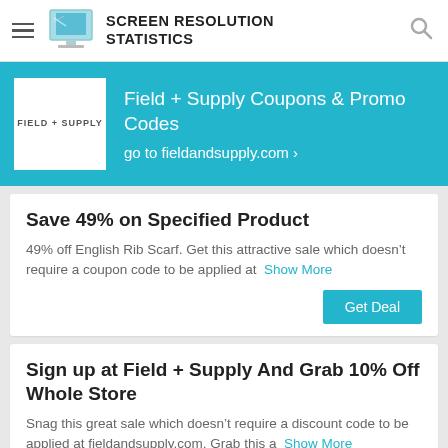SCREEN RESOLUTION STATISTICS
[Figure (logo): Field + Supply brand logo: white box with text FIELD + SUPPLY]
Field + Supply Coupons & Promo Codes
go to fieldandsupply.com ›
Save 49% on Specified Product
49% off English Rib Scarf. Get this attractive sale which doesn't require a coupon code to be applied at Show More
Sign up at Field + Supply And Grab 10% Off Whole Store
Snag this great sale which doesn't require a discount code to be applied at fieldandsupply.com. Grab this a Show More